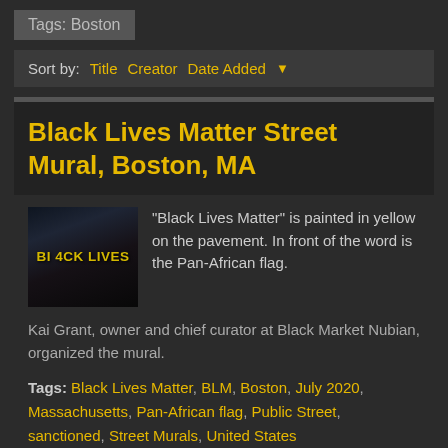Tags: Boston
Sort by:  Title  Creator  Date Added ▼
Black Lives Matter Street Mural, Boston, MA
[Figure (photo): Thumbnail photograph of the Black Lives Matter street mural showing yellow letters on pavement with text 'BI 4CK LIVES']
"Black Lives Matter" is painted in yellow on the pavement. In front of the word is the Pan-African flag.
Kai Grant, owner and chief curator at Black Market Nubian, organized the mural.
Tags: Black Lives Matter, BLM, Boston, July 2020, Massachusetts, Pan-African flag, Public Street, sanctioned, Street Murals, United States